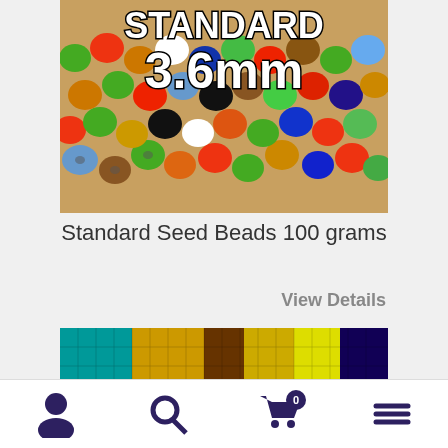[Figure (photo): Photo of colorful mixed seed beads with text overlay reading 'STANDARD 3.6mm']
Standard Seed Beads 100 grams
View Details
[Figure (photo): Close-up photo of colorful square glass/mosaic tiles arranged in a grid pattern with various colors including teal, gold, red, brown, green, purple, yellow and dark blue]
Navigation bar with person icon, search icon, cart icon (0), and menu icon